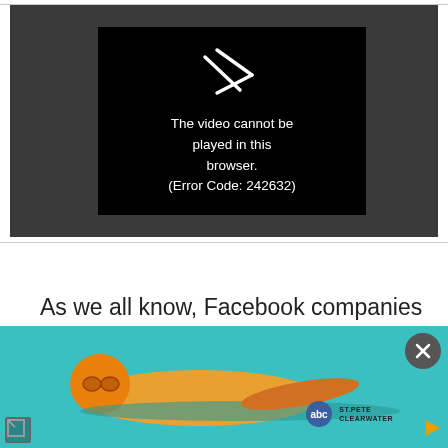[Figure (screenshot): Video player showing error message on dark background. Center black box displays a broken play icon and the text: 'The video cannot be played in this browser. (Error Code: 242632)']
As we all know, Facebook companies are a huge name in our day. Especially when we think about
[Figure (photo): Advertisement banner showing a swimmer in teal/orange thermal imagery on the left, yellow background on the right with St. Pete Clearwater logo. Close button (X) in top right corner. Small screen icon bottom left, play triangle bottom right.]